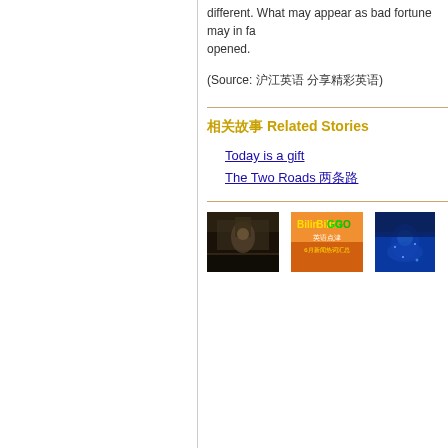different. What may appear as bad fortune may in fact be different. opened.
(Source: 沪江英语 分享精彩英语)
相关故事 Related Stories
Today is a gift
The Two Roads 两条路
[Figure (photo): Scene from Pirates of the Caribbean movie showing Captain Jack Sparrow]
[Figure (photo): Bilingo 英语点津 6月新闻热词汇总 promotional image with orange/yellow background]
[Figure (photo): Blue underwater scene from a movie]